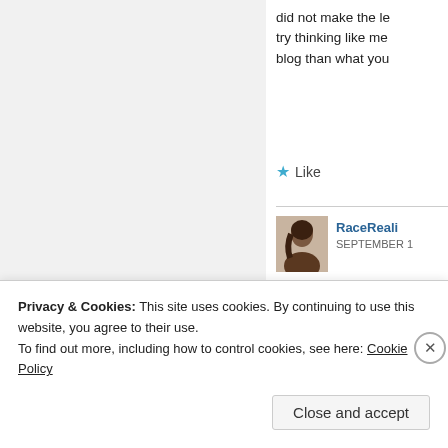did not make the le… try thinking like me… blog than what you…
★ Like
RaceReali… SEPTEMBER 1…
Re IQ tests:
See this article by…
The controversies a… paper brings togeth…
Privacy & Cookies: This site uses cookies. By continuing to use this website, you agree to their use. To find out more, including how to control cookies, see here: Cookie Policy
Close and accept